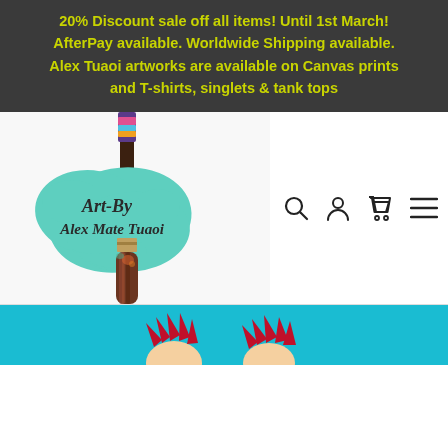20% Discount sale off all items! Until 1st March! AfterPay available. Worldwide Shipping available. Alex Tuaoi artworks are available on Canvas prints and T-shirts, singlets & tank tops
[Figure (logo): Art By Alex Mate Tuaoi logo with paintbrush and teal paint splash]
[Figure (other): Bottom teal strip with cartoon characters (partial)]